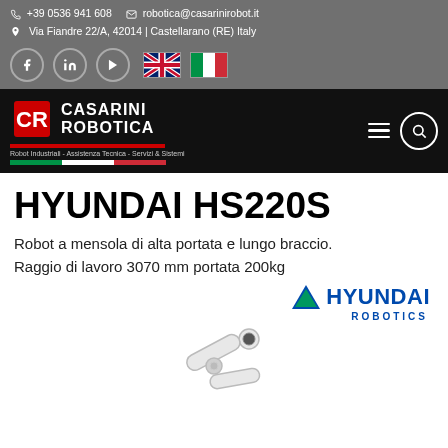+39 0536 941 608  robotica@casarinirobot.it  Via Fiandre 22/A, 42014 | Castellarano (RE) Italy
[Figure (logo): Casarini Robotica logo on black navigation bar with tagline 'Robot Industriali - Assistenza Tecnica - Servizi & Sistemi' and Italian flag colors bar]
HYUNDAI HS220S
Robot a mensola di alta portata e lungo braccio. Raggio di lavoro 3070 mm portata 200kg
[Figure (logo): Hyundai Robotics logo with blue triangle and text HYUNDAI ROBOTICS]
[Figure (photo): Partial view of Hyundai HS220S robot arm, white industrial robot arm shown from below]